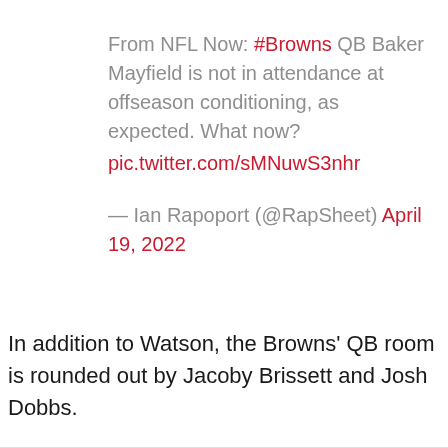From NFL Now: #Browns QB Baker Mayfield is not in attendance at offseason conditioning, as expected. What now? pic.twitter.com/sMNuwS3nhr — Ian Rapoport (@RapSheet) April 19, 2022
In addition to Watson, the Browns' QB room is rounded out by Jacoby Brissett and Josh Dobbs.